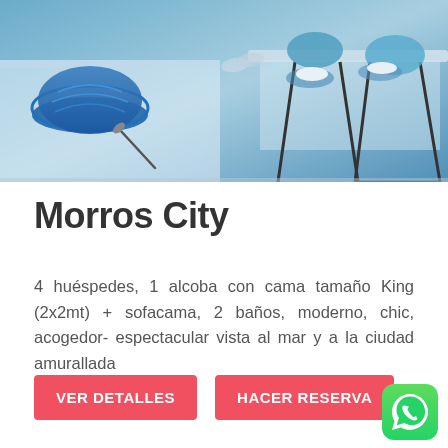[Figure (photo): Interior photo showing blue decorative bowl/chair on left and dining table with blue chairs and white plates on right, with blue-tinted color scheme]
Morros City
4 huéspedes, 1 alcoba con cama tamaño King (2x2mt) + sofacama, 2 baños, moderno, chic, acogedor- espectacular vista al mar y a la ciudad amurallada
[Figure (illustration): VER DETALLES button — red/coral rounded rectangle with white bold uppercase text]
[Figure (illustration): HACER RESERVA button — red/coral rounded rectangle with white bold uppercase text]
[Figure (logo): WhatsApp icon — green rounded square with white phone/chat bubble logo, bottom right corner]